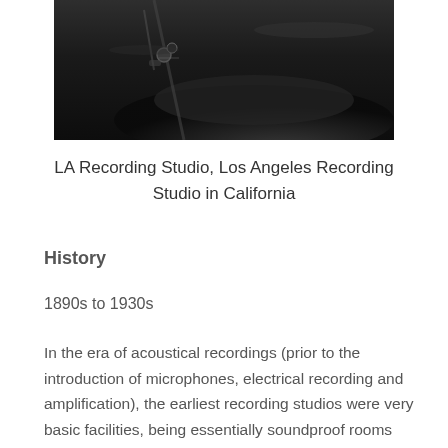[Figure (photo): Dark close-up photo of drum equipment in a recording studio setting, showing drum hardware and cymbals against a dark background.]
LA Recording Studio, Los Angeles Recording Studio in California
History
1890s to 1930s
In the era of acoustical recordings (prior to the introduction of microphones, electrical recording and amplification), the earliest recording studios were very basic facilities, being essentially soundproof rooms that isolated the performers from outside noise. During this era it was not uncommon for recordings to be made in any available location, such as a local ballroom, using portable acoustic recording